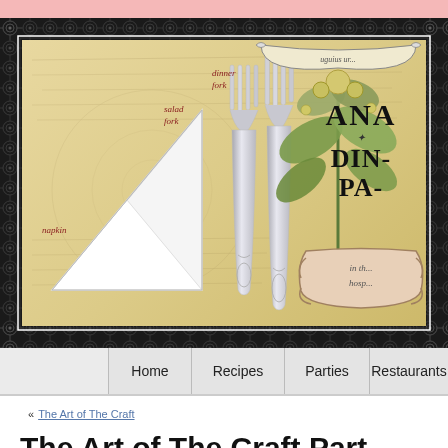[Figure (illustration): Website banner for a dining party blog showing a vintage-style illustration with two silver forks, a folded white napkin, handwritten script labels for 'napkin', 'salad fork', 'dinner fork', botanical illustration on the right, and partial text reading 'ANA... DIN... PA...' with a decorative lace/damask border frame on a parchment yellow background.]
Home | Recipes | Parties | Restaurants
« The Art of The Craft
The Art of The Craft Part Deux